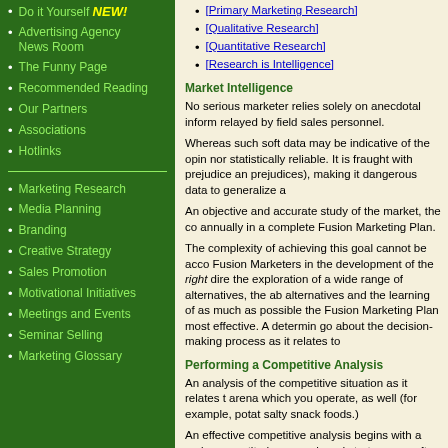Do it Yourself NEW!
Advertising Agency News Room
The Funny Page
Recommended Reading
Our Partners
Associations
Hotlinks
Marketing Research
Media Planning
Branding
Creative Strategy
Sales Promotion
Motivational Initiatives
Meetings and Events
Seminar Selling
Marketing Glossary
[Primary Marketing Research]
[Qualitative Research]
[Quantitative Research]
[Research is Intelligence]
Market Intelligence
No serious marketer relies solely on anecdotal inform relayed by field sales personnel.
Whereas such soft data may be indicative of the opin nor statistically reliable. It is fraught with prejudice an prejudices), making it dangerous data to generalize a
An objective and accurate study of the market, the co annually in a complete Fusion Marketing Plan.
The complexity of achieving this goal cannot be acco Fusion Marketers in the development of the right dire the exploration of a wide range of alternatives, the ab alternatives and the learning of as much as possible the Fusion Marketing Plan most effective. A determin go about the decision-making process as it relates to
Performing a Competitive Analysis
An analysis of the competitive situation as it relates t arena which you operate, as well (for example, potat salty snack foods.)
An effective competitive analysis begins with a revie competitor's research and strategy can often be unc promotional literature.